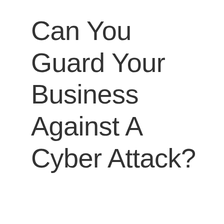Can You Guard Your Business Against A Cyber Attack?